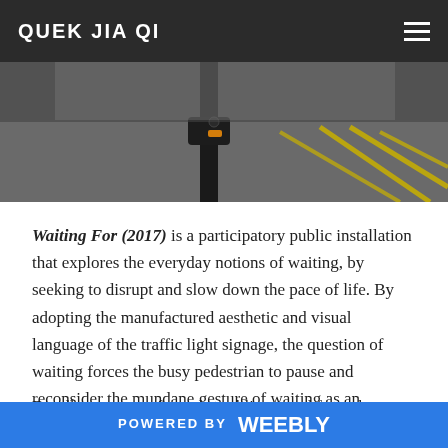QUEK JIA QI
[Figure (photo): Close-up photo of a traffic light pole and signage against a road surface with yellow markings, dark background]
Waiting For (2017) is a participatory public installation that explores the everyday notions of waiting, by seeking to disrupt and slow down the pace of life. By adopting the manufactured aesthetic and visual language of the traffic light signage, the question of waiting forces the busy pedestrian to pause and reconsider the mundane gesture of waiting as an everyday endurance. As an attempt to challenge authorship, the recreated public signs transformed public waiting spaces into social spaces where public can participate freely and democratically.
Doodle responses from the public ranged from the
POWERED BY weebly